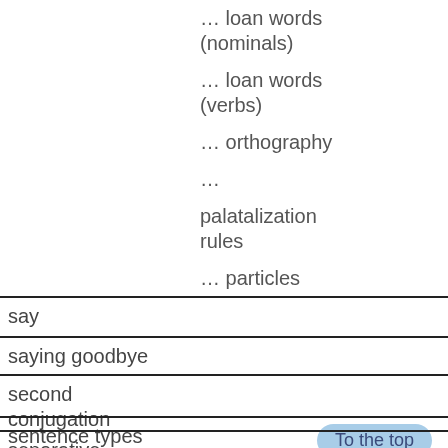… loan words (nominals)
… loan words (verbs)
… orthography
… palatalization rules
… particles
say
saying goodbye
second conjugation
sentence types
separative